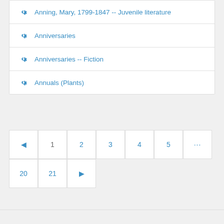Anning, Mary, 1799-1847 -- Juvenile literature
Anniversaries
Anniversaries -- Fiction
Annuals (Plants)
◄ 1 2 3 4 5 ... 20 21 ►